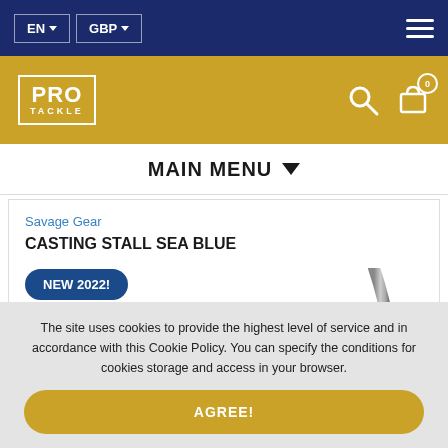EN  GBP
[Figure (logo): PRO TACKLE logo in white text inside a white border box on a gold/yellow background, with search and cart icons on the right]
MAIN MENU
Savage Gear
CASTING STALL SEA BLUE
NEW 2022!
[Figure (photo): Partial product image of a fishing casting stall in sea blue color, showing the curved handle/top portion]
The site uses cookies to provide the highest level of service and in accordance with this Cookie Policy. You can specify the conditions for cookies storage and access in your browser.
AGREE!